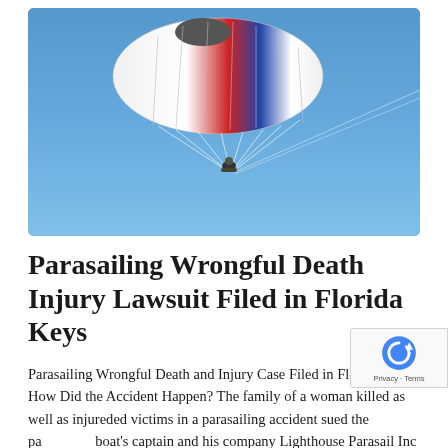[Figure (photo): A person parasailing in a blue sky, the colorful parachute canopy (white with red and blue accents) visible at upper left, with thin rope lines leading down to the person suspended mid-air.]
Parasailing Wrongful Death Injury Lawsuit Filed in Florida Keys
Parasailing Wrongful Death and Injury Case Filed in Florida Keys How Did the Accident Happen? The family of a woman killed as well as injured victims in a parasailing accident sued the pa boat's captain and his company Lighthouse Parasail Inc (Lighthouse) in Monroe County